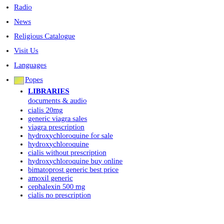Radio
News
Religious Catalogue
Visit Us
Languages
[image] Popes
LIBRARIES documents & audio
cialis 20mg
generic viagra sales
viagra prescription
hydroxychloroquine for sale
hydroxychloroquine
cialis without prescription
hydroxychloroquine buy online
bimatoprost generic best price
amoxil generic
cephalexin 500 mg
cialis no prescription